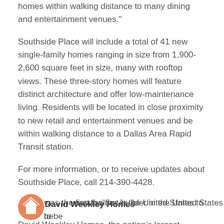homes within walking distance to many dining and entertainment venues."
Southside Place will include a total of 41 new single-family homes ranging in size from 1,900-2,600 square feet in size, many with rooftop views. These three-story homes will feature distinct architecture and offer low-maintenance living. Residents will be located in close proximity to new retail and entertainment venues and be within walking distance to a Dallas Area Rapid Transit station.
For more information, or to receive updates about Southside Place, call 214-390-4428.
About David Weekley Homes
David Weekley Homes, the nation’s largest privately-held home builder, is celebrating its 40th anniversary in 2016. Headquartered in Houston, the company operates in 22 cities and 12 states across the United States. David Weekley Homes was the first builder in the United States to be
[Figure (logo): David Weekley Homes logo circle, orange/salmon colored circular logo partially visible at bottom left]